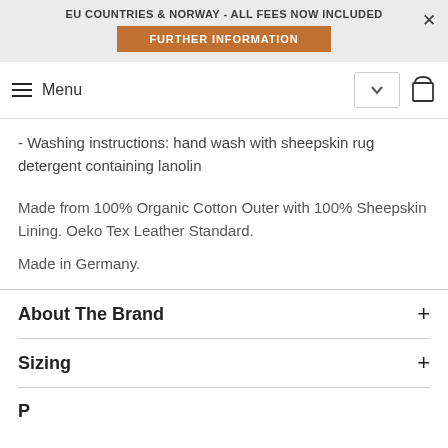EU COUNTRIES & NORWAY - ALL FEES NOW INCLUDED
FURTHER INFORMATION
Menu
- Washing instructions: hand wash with sheepskin rug detergent containing lanolin
Made from 100% Organic Cotton Outer with 100% Sheepskin Lining. Oeko Tex Leather Standard.
Made in Germany.
About The Brand
Sizing
P...